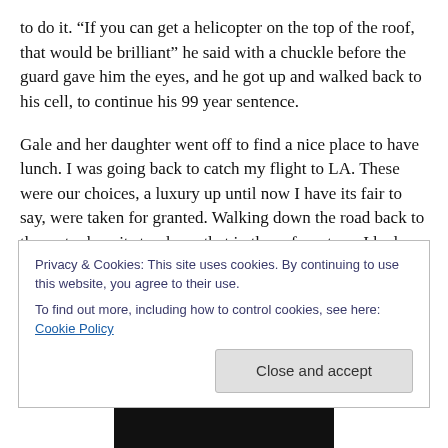to do it. “If you can get a helicopter on the top of the roof, that would be brilliant” he said with a chuckle before the guard gave him the eyes, and he got up and walked back to his cell, to continue his 99 year sentence.
Gale and her daughter went off to find a nice place to have lunch. I was going back to catch my flight to LA. These were our choices, a luxury up until now I have its fair to say, were taken for granted. Walking down the road back to the water bus, it struck me that in those few steps, I had gone further in this world than most of them people in the
Privacy & Cookies: This site uses cookies. By continuing to use this website, you agree to their use.
To find out more, including how to control cookies, see here: Cookie Policy